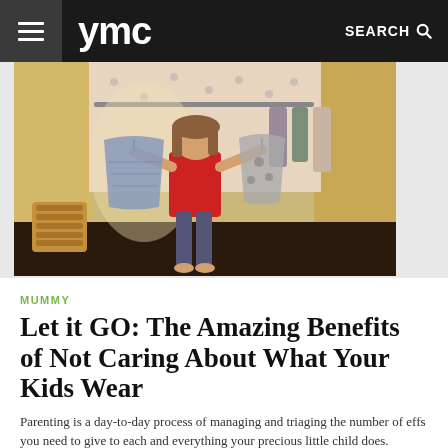ymc — SEARCH
[Figure (photo): A young girl with bangs wearing a red top and patterned leggings standing in a closet, holding up two clothing items on hangers. Clothing racks and gold curtains visible in the background, with a wicker basket to the left.]
MUMMY
Let it GO: The Amazing Benefits of Not Caring About What Your Kids Wear
Parenting is a day-to-day process of managing and triaging the number of effs you need to give to each and everything your precious little child does.